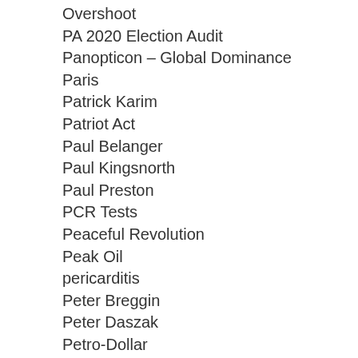Overshoot
PA 2020 Election Audit
Panopticon – Global Dominance
Paris
Patrick Karim
Patriot Act
Paul Belanger
Paul Kingsnorth
Paul Preston
PCR Tests
Peaceful Revolution
Peak Oil
pericarditis
Peter Breggin
Peter Daszak
Petro-Dollar
Pfizer COVID vaccine
pfizer document release
pharmaceutical industrial complex
Piano
Plandemic